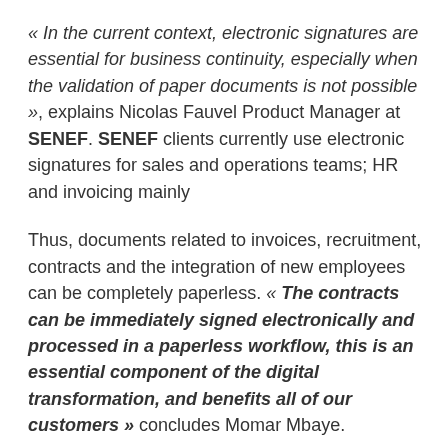« In the current context, electronic signatures are essential for business continuity, especially when the validation of paper documents is not possible », explains Nicolas Fauvel Product Manager at SENEF. SENEF clients currently use electronic signatures for sales and operations teams; HR and invoicing mainly
Thus, documents related to invoices, recruitment, contracts and the integration of new employees can be completely paperless. « The contracts can be immediately signed electronically and processed in a paperless workflow, this is an essential component of the digital transformation, and benefits all of our customers » concludes Momar Mbaye.
For Luc Pallavidino "The care services and multi-service & cleaning sectors face many logistical